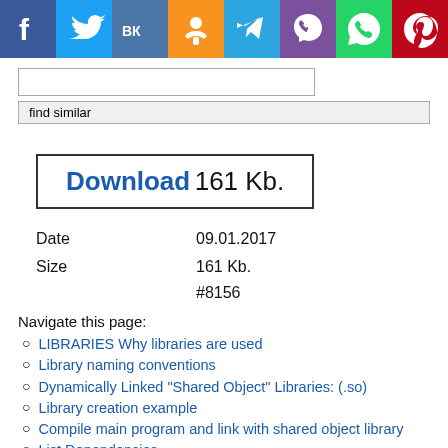[Figure (infographic): Social media sharing icons bar: Facebook (blue), Twitter (light blue), VK (blue), Odnoklassniki (orange), Telegram (blue), Viber (purple), WhatsApp (green), Pinterest (red)]
[Figure (other): Search input box and 'find similar' button]
Download 161 Kb.
| Date | 09.01.2017 |
| Size | 161 Kb. |
|  | #8156 |
Navigate this page:
LIBRARIES Why libraries are used
Library naming conventions
Dynamically Linked "Shared Object" Libraries: (.so)
Library creation example
Compile main program and link with shared object library
List Dependencies
Run Program: Set path: export LD_LIBRARY_PATH=/opt/lib:$LD_LIBRARY_PATH
Run: prog Man Pages